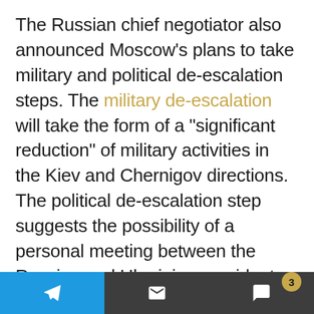The Russian chief negotiator also announced Moscow's plans to take military and political de-escalation steps. The military de-escalation will take the form of a "significant reduction" of military activities in the Kiev and Chernigov directions. The political de-escalation step suggests the possibility of a personal meeting between the Russian and Ukrainian presidents at the stage of preliminary approval of the final version of the agreement.
“The proposed format was as